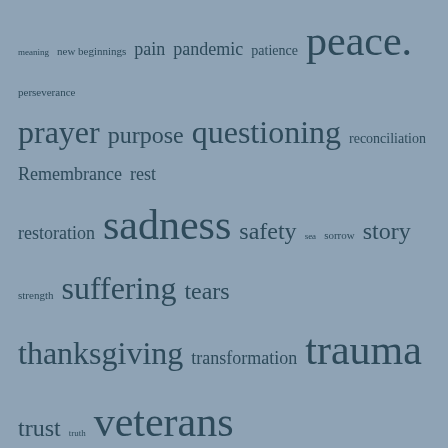meaning new beginnings pain pandemic patience peace. perseverance prayer purpose questioning reconciliation Remembrance rest restoration sadness safety sea sorrow story strength suffering tears thanksgiving transformation trauma trust truth veterans wonder wounds
[Figure (other): WordPress Follow button: Follow An umbrella of healing love]
Categories
acceptance, love
christian healing, freedom,
Christian healing, trauma, resilience, healing communities, hope.